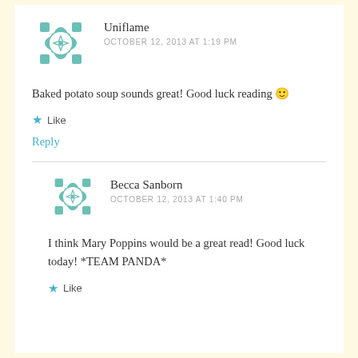[Figure (illustration): Teal geometric/floral avatar icon for user Uniflame]
Uniflame
OCTOBER 12, 2013 AT 1:19 PM
Baked potato soup sounds great! Good luck reading 🙂
★ Like
Reply
[Figure (illustration): Teal geometric/floral avatar icon for user Becca Sanborn]
Becca Sanborn
OCTOBER 12, 2013 AT 1:40 PM
I think Mary Poppins would be a great read! Good luck today! *TEAM PANDA*
★ Like